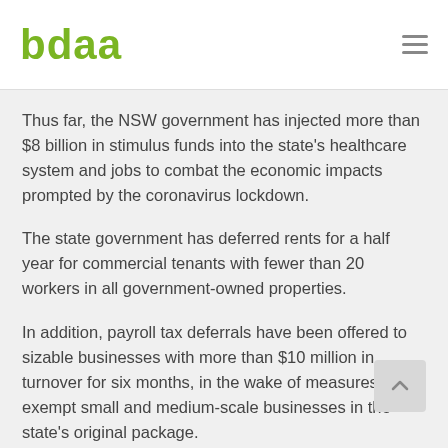bdaa
Thus far, the NSW government has injected more than $8 billion in stimulus funds into the state's healthcare system and jobs to combat the economic impacts prompted by the coronavirus lockdown.
The state government has deferred rents for a half year for commercial tenants with fewer than 20 workers in all government-owned properties.
In addition, payroll tax deferrals have been offered to sizable businesses with more than $10 million in turnover for six months, in the wake of measures to exempt small and medium-scale businesses in the state's original package.
Construction still is considered an "essential service" across the nation, with the federal government